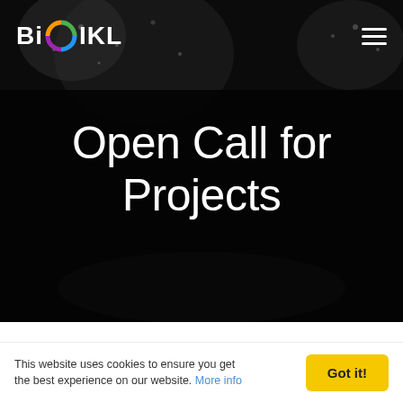[Figure (screenshot): Hero banner with dark/black background showing a blurred close-up of a glittery or crystal-like object]
BiC IKL
Open Call for Projects
Back to Open Call for Projects
This website uses cookies to ensure you get the best experience on our website. More info